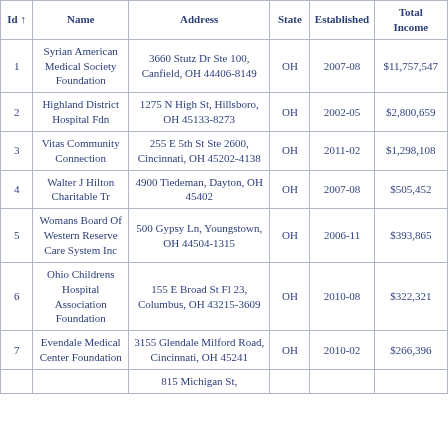| Id ↑ | Name | Address | State | Established | Total Income |
| --- | --- | --- | --- | --- | --- |
| 1 | Syrian American Medical Society Foundation | 3660 Stutz Dr Ste 100, Canfield, OH 44406-8149 | OH | 2007-08 | $11,757,547 |
| 2 | Highland District Hospital Fdn | 1275 N High St, Hillsboro, OH 45133-8273 | OH | 2002-05 | $2,800,659 |
| 3 | Vitas Community Connection | 255 E 5th St Ste 2600, Cincinnati, OH 45202-4138 | OH | 2011-02 | $1,298,108 |
| 4 | Walter J Hilton Charitable Tr | 4900 Tiedeman, Dayton, OH 45402 | OH | 2007-08 | $505,452 |
| 5 | Womans Board Of Western Reserve Care System Inc | 500 Gypsy Ln, Youngstown, OH 44504-1315 | OH | 2006-11 | $393,865 |
| 6 | Ohio Childrens Hospital Association Foundation | 155 E Broad St Fl 23, Columbus, OH 43215-3609 | OH | 2010-08 | $322,321 |
| 7 | Evendale Medical Center Foundation | 3155 Glendale Milford Road, Cincinnati, OH 45241 | OH | 2010-02 | $266,396 |
| 8 |  | 815 Michigan St, |  |  |  |